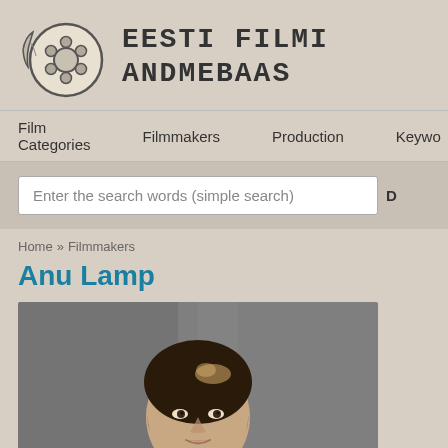[Figure (logo): Eesti Filmi Andmebaas logo with film reel graphic and stylized text]
Film Categories   Filmmakers   Production   Keywo
Enter the search words (simple search)
Home » Filmmakers
Anu Lamp
[Figure (photo): Portrait photo of Anu Lamp, a woman with short dark hair with light highlights, smiling slightly, wearing dark clothing, photographed against a blurred grey background]